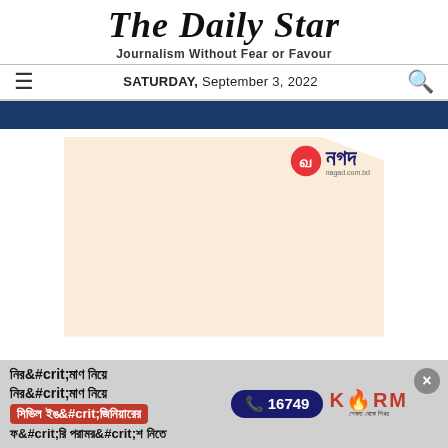The Daily Star
Journalism Without Fear or Favour
SATURDAY, September 3, 2022
[Figure (advertisement): Nagad mobile financial service advertisement with beige/cream folded paper style graphic and Nagad logo in top right corner]
[Figure (advertisement): KSRM Steel advertisement in Bengali text: 'Construction advice from Civil Engineer free' with phone number 16749 and KSRM logo, with close button]